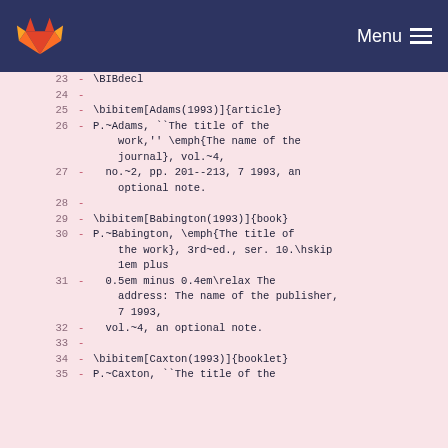GitLab logo | Menu
23   - \BIBdecl
24   -
25   - \bibitem[Adams(1993)]{article}
26   - P.~Adams, ``The title of the work,'' \emph{The name of the journal}, vol.~4,
27   -   no.~2, pp. 201--213, 7 1993, an optional note.
28   -
29   - \bibitem[Babington(1993)]{book}
30   - P.~Babington, \emph{The title of the work}, 3rd~ed., ser. 10.\hskip 1em plus
31   -   0.5em minus 0.4em\relax The address: The name of the publisher, 7 1993,
32   -   vol.~4, an optional note.
33   -
34   - \bibitem[Caxton(1993)]{booklet}
35   - P.~Caxton, ``The title of the